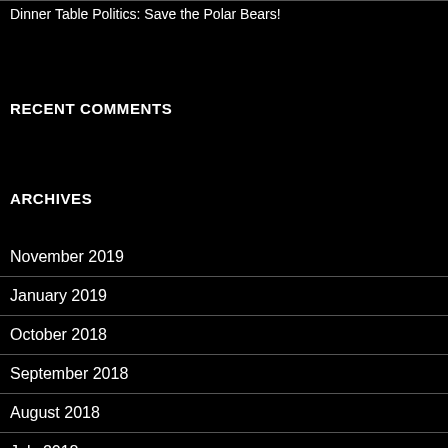Dinner Table Politics: Save the Polar Bears!
RECENT COMMENTS
ARCHIVES
November 2019
January 2019
October 2018
September 2018
August 2018
July 2018
June 2018